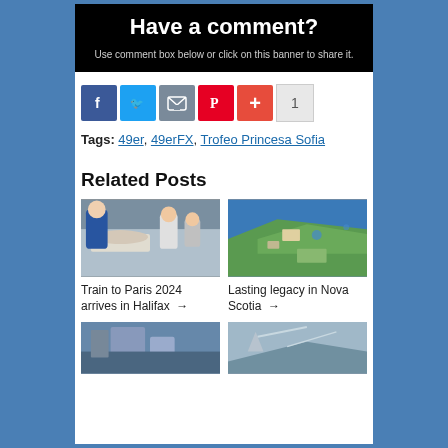[Figure (other): Black banner with 'Have a comment?' heading and subtitle text]
[Figure (infographic): Social share buttons: Facebook, Twitter, Email, Pinterest, Plus, count 1]
Tags: 49er, 49erFX, Trofeo Princesa Sofia
Related Posts
[Figure (photo): People in a room, person lying down being treated, others standing around in blue jackets]
Train to Paris 2024 arrives in Halifax →
[Figure (photo): Aerial view of coastal landscape with green land, water, and structures]
Lasting legacy in Nova Scotia →
[Figure (photo): Bottom left partial image - building near water]
[Figure (photo): Bottom right partial image - boat/sailing scene]